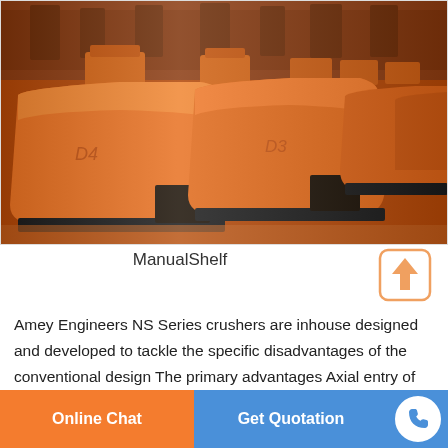[Figure (photo): Row of large orange industrial NS Series crushers in a factory setting, labeled D4 and D3, viewed from a slight angle showing multiple units receding into the background.]
ManualShelf
Amey Engineers NS Series crushers are inhouse designed and developed to tackle the specific disadvantages of the conventional design The primary advantages Axial entry of
Online Chat
Get Quotation